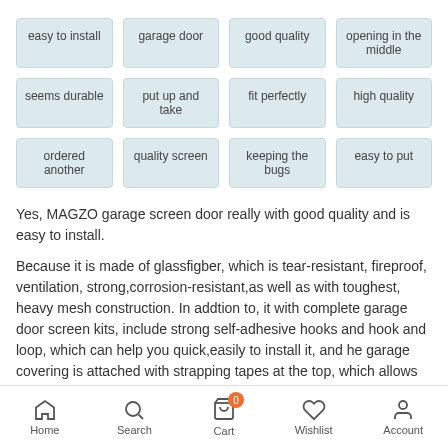easy to install
garage door
good quality
opening in the middle
seems durable
put up and take
fit perfectly
high quality
ordered another
quality screen
keeping the bugs
easy to put
Yes, MAGZO garage screen door really with good quality and is easy to install.
Because it is made of glassfigber, which is tear-resistant, fireproof, ventilation, strong,corrosion-resistant,as well as with toughest, heavy mesh construction. In addtion to, it with complete garage door screen kits, include strong self-adhesive hooks and hook and loop, which can help you quick,easily to install it, and he garage covering is attached with strapping tapes at the top, which allows you to roll up screen and secure it to the top, hooks contribute to install more stable, prevent been blown open by wind.
Home  Search  Cart 0  Wishlist  Account